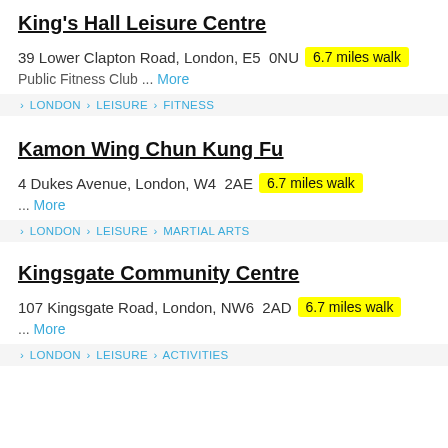King's Hall Leisure Centre
39 Lower Clapton Road, London, E5  0NU  6.7 miles walk
Public Fitness Club ... More
> LONDON > LEISURE > FITNESS
Kamon Wing Chun Kung Fu
4 Dukes Avenue, London, W4  2AE  6.7 miles walk
... More
> LONDON > LEISURE > MARTIAL ARTS
Kingsgate Community Centre
107 Kingsgate Road, London, NW6  2AD  6.7 miles walk
... More
> LONDON > LEISURE > ACTIVITIES